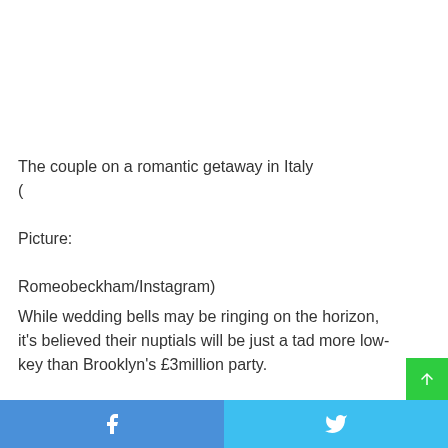The couple on a romantic getaway in Italy
(

Picture:

Romeobeckham/Instagram)
While wedding bells may be ringing on the horizon, it's believed their nuptials will be just a tad more low-key than Brooklyn's £3million party.
Facebook share | Twitter share